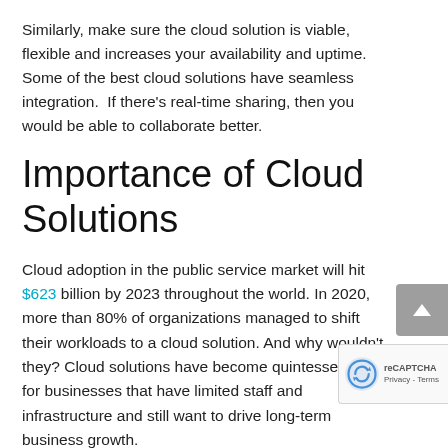Similarly, make sure the cloud solution is viable, flexible and increases your availability and uptime. Some of the best cloud solutions have seamless integration.  If there's real-time sharing, then you would be able to collaborate better.
Importance of Cloud Solutions
Cloud adoption in the public service market will hit $623 billion by 2023 throughout the world. In 2020, more than 80% of organizations managed to shift their workloads to a cloud solution. And why wouldn't they? Cloud solutions have become quintessential for businesses that have limited staff and infrastructure and still want to drive long-term business growth.
Think of the cloud solution as the answer to achieve scalable flexibility. With the right cloud service provider IT support team – you'd be surprised how much cloud...